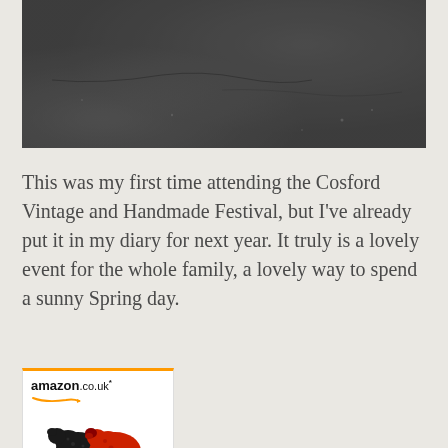[Figure (photo): Close-up photo of dark grey asphalt or slate surface with subtle cracks and texture]
This was my first time attending the Cosford Vintage and Handmade Festival, but I've already put it in my diary for next year. It truly is a lovely event for the whole family, a lovely way to spend a sunny Spring day.
[Figure (logo): Amazon.co.uk advertisement banner with logo and decorative sheep figures]